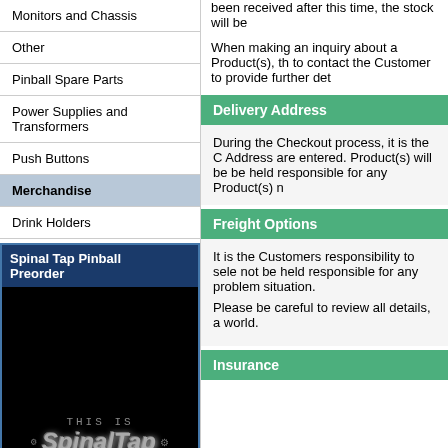Monitors and Chassis
Other
Pinball Spare Parts
Power Supplies and Transformers
Push Buttons
Merchandise
Drink Holders
[Figure (illustration): Spinal Tap Pinball Preorder advertisement with dark background, Spinal Tap logo, and yellow PRE-ORDER NOW text]
NEW BUTTONS ON SALE! 99c
been received after this time, the stock will be
When making an inquiry about a Product(s), to contact the Customer to provide further det
Delivery Address
During the Checkout process, it is the C Address are entered. Product(s) will be be held responsible for any Product(s) n
Freight Options
It is the Customers responsibility to sele not be held responsible for any problem situation.
Please be careful to review all details, a world.
Insurance